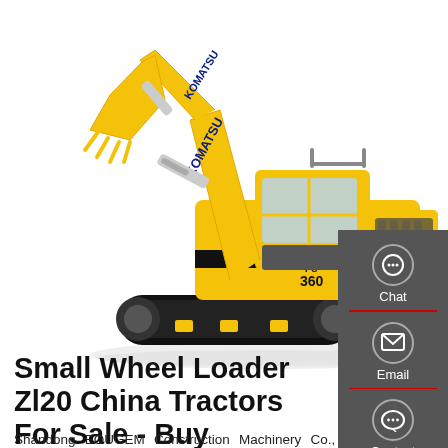[Figure (photo): Yellow Komatsu PC360 excavator on white background, showing the excavator arm, cab, and tracked undercarriage. Brand name KOMATSU visible on the arm and body, model PC 360 visible on the side.]
Small Wheel Loader Zl20 China Tractors For Sale - Buy
Shandong EOUGEM Construction Machinery Co., Ltd. is mainly engaged in the production and management of the construction machinery of